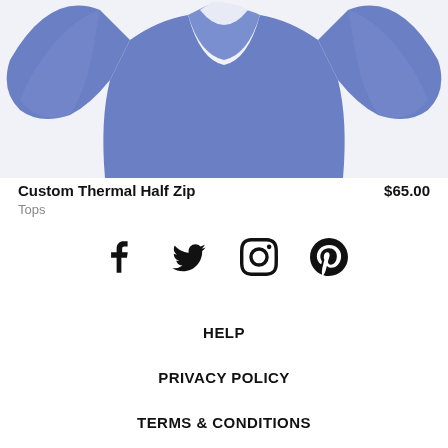[Figure (photo): Blue/indigo custom thermal half zip pullover shirt, partial view showing upper body and sleeves on white/light background]
Custom Thermal Half Zip
$65.00
Tops
[Figure (other): Social media icons: Facebook, Twitter, Instagram, Pinterest]
HELP
PRIVACY POLICY
TERMS & CONDITIONS
LOGIN